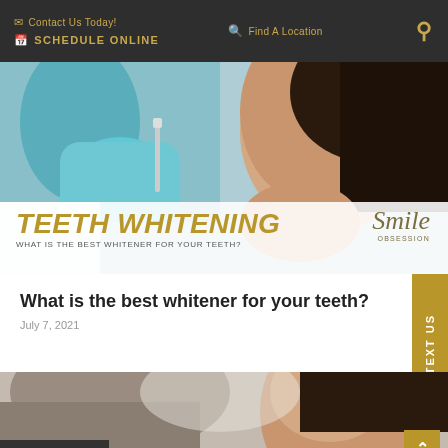Contact Us Today! | Find A Location | SCHEDULE ONLINE
[Figure (photo): Dentist in blue gloves holding dental tool near female patient's mouth; teeth whitening promotional banner overlay showing 'TEETH WHITENING - WHAT IS THE BEST WHITENER FOR YOUR TEETH?' with Smile Obsession logo]
What is the best whitener for your teeth?
July 7, 2021
[Figure (photo): Dentist examining female patient in dental chair, cropped close-up view]
Translate »